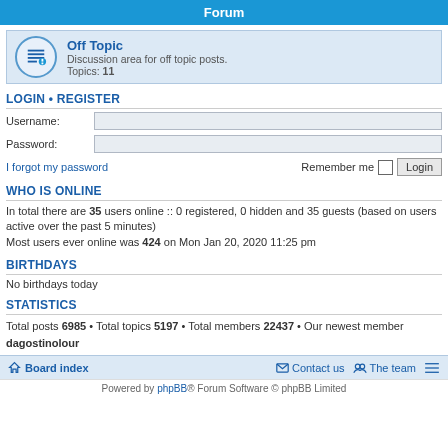Forum
Off Topic
Discussion area for off topic posts.
Topics: 11
LOGIN • REGISTER
Username:
Password:
I forgot my password    Remember me  Login
WHO IS ONLINE
In total there are 35 users online :: 0 registered, 0 hidden and 35 guests (based on users active over the past 5 minutes)
Most users ever online was 424 on Mon Jan 20, 2020 11:25 pm
BIRTHDAYS
No birthdays today
STATISTICS
Total posts 6985 • Total topics 5197 • Total members 22437 • Our newest member dagostinolour
Board index   Contact us   The team   Powered by phpBB® Forum Software © phpBB Limited